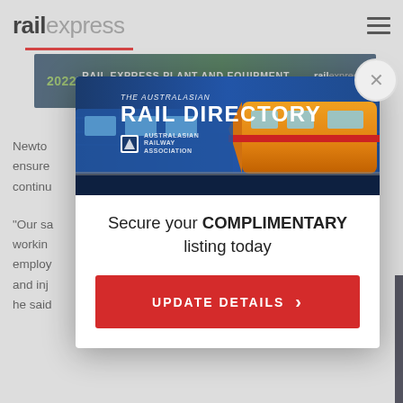railexpress
[Figure (screenshot): 2022 Rail Express Plant and Equipment Showcase banner advertisement with dark green/blue gradient background and white text]
Newto... ensure... continu...
“Our sa... workin... employ... and inj... he said...
[Figure (screenshot): The Australasian Rail Directory modal popup with a train image, text 'Secure your COMPLIMENTARY listing today' and a red UPDATE DETAILS button]